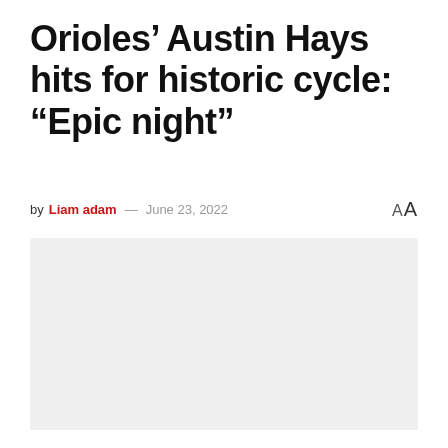Orioles’ Austin Hays hits for historic cycle: “Epic night”
by Liam adam — June 23, 2022
[Figure (photo): Large placeholder image area with light gray background]